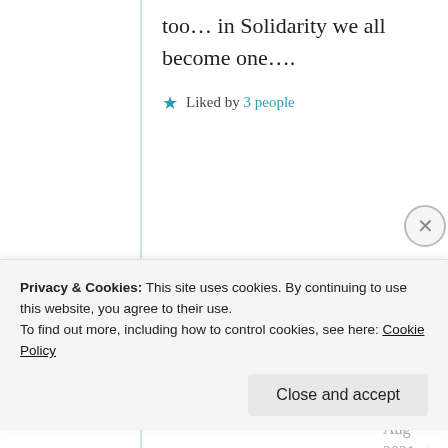too… in Solidarity we all become one….
★ Liked by 3 people
Suma Reddy
21st Aug 2021 at 11:28 am
ha ha, really no. Truely
Privacy & Cookies: This site uses cookies. By continuing to use this website, you agree to their use.
To find out more, including how to control cookies, see here: Cookie Policy
Close and accept